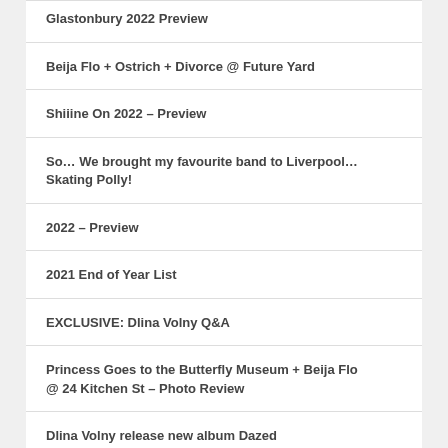Glastonbury 2022 Preview
Beija Flo + Ostrich + Divorce @ Future Yard
Shiiine On 2022 – Preview
So… We brought my favourite band to Liverpool… Skating Polly!
2022 – Preview
2021 End of Year List
EXCLUSIVE: Dlina Volny Q&A
Princess Goes to the Butterfly Museum + Beija Flo @ 24 Kitchen St – Photo Review
Dlina Volny release new album Dazed